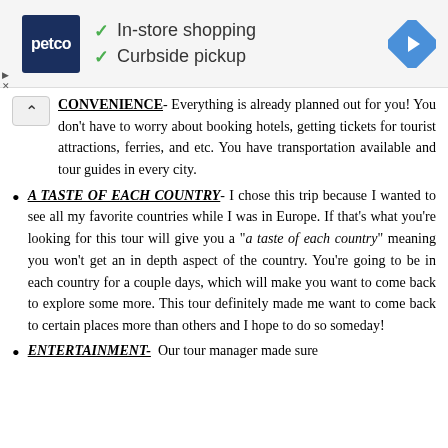[Figure (other): Petco advertisement banner showing Petco logo, checkmarks for 'In-store shopping' and 'Curbside pickup', and a navigation icon]
CONVENIENCE- Everything is already planned out for you! You don't have to worry about booking hotels, getting tickets for tourist attractions, ferries, and etc. You have transportation available and tour guides in every city.
A TASTE OF EACH COUNTRY- I chose this trip because I wanted to see all my favorite countries while I was in Europe. If that's what you're looking for this tour will give you a "a taste of each country" meaning you won't get an in depth aspect of the country. You're going to be in each country for a couple days, which will make you want to come back to explore some more. This tour definitely made me want to come back to certain places more than others and I hope to do so someday!
ENTERTAINMENT- Our tour manager made sure...